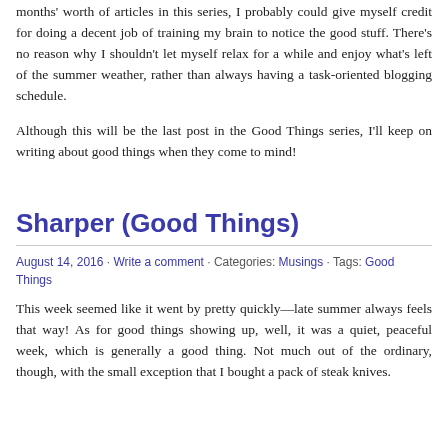months' worth of articles in this series, I probably could give myself credit for doing a decent job of training my brain to notice the good stuff. There's no reason why I shouldn't let myself relax for a while and enjoy what's left of the summer weather, rather than always having a task-oriented blogging schedule.
Although this will be the last post in the Good Things series, I'll keep on writing about good things when they come to mind!
Sharper (Good Things)
August 14, 2016 · Write a comment · Categories: Musings · Tags: Good Things
This week seemed like it went by pretty quickly—late summer always feels that way! As for good things showing up, well, it was a quiet, peaceful week, which is generally a good thing. Not much out of the ordinary, though, with the small exception that I bought a pack of steak knives.